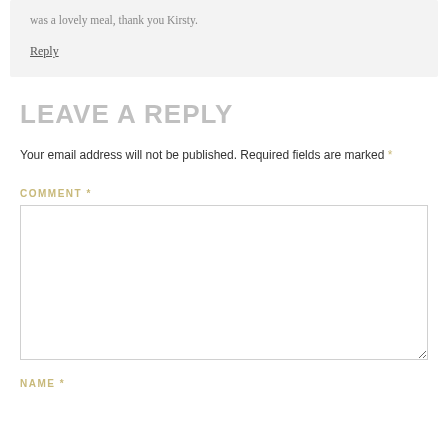was a lovely meal, thank you Kirsty.
Reply
LEAVE A REPLY
Your email address will not be published. Required fields are marked *
COMMENT *
NAME *